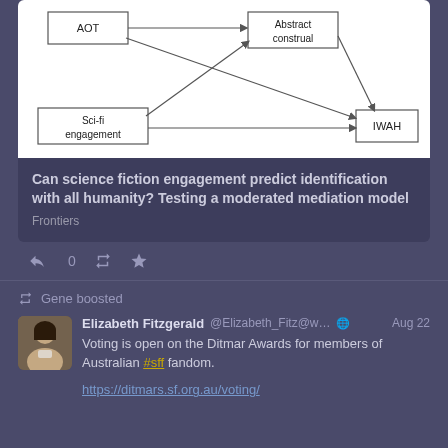[Figure (flowchart): Moderated mediation model diagram showing AOT and Sci-fi engagement as predictors, Abstract construal as mediator, and IWAH as outcome, with arrows connecting them.]
Can science fiction engagement predict identification with all humanity? Testing a moderated mediation model
Frontiers
Gene boosted
Elizabeth Fitzgerald @Elizabeth_Fitz@w... Aug 22
Voting is open on the Ditmar Awards for members of Australian #sff fandom.
https://ditmars.sf.org.au/voting/